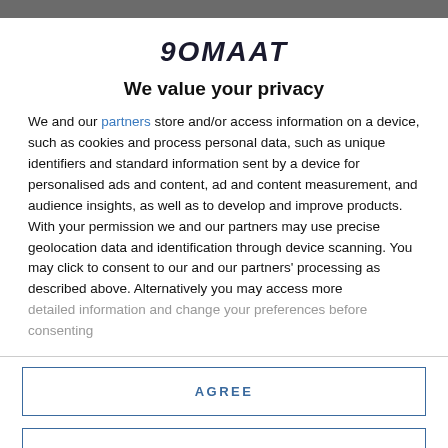90MAAT
We value your privacy
We and our partners store and/or access information on a device, such as cookies and process personal data, such as unique identifiers and standard information sent by a device for personalised ads and content, ad and content measurement, and audience insights, as well as to develop and improve products. With your permission we and our partners may use precise geolocation data and identification through device scanning. You may click to consent to our and our partners' processing as described above. Alternatively you may access more detailed information and change your preferences before consenting
AGREE
MORE OPTIONS
sell your shares was to market-sell and wait for someone to